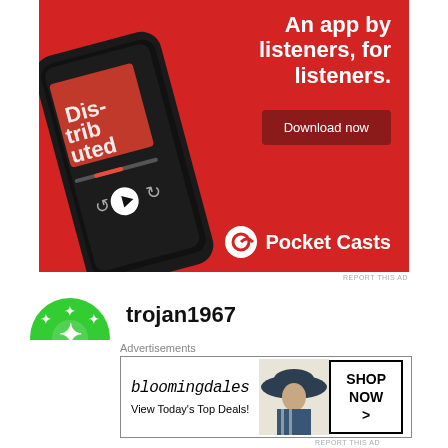[Figure (photo): Pocket Casts app advertisement on red background. Shows a smartphone displaying the app with 'Dis-trib-uted' podcast art. Text reads 'An app by listeners, for listeners.' with a 'Download now' button and Pocket Casts logo at bottom right.]
REPORT THIS AD
trojan1967
SEPTEMBER 8, 2019 AT 4:14 PM
Check out Swann’s quotes in the story below. His
Advertisements
[Figure (photo): Bloomingdale's advertisement. Logo text 'bloomingdales' in serif style. Subtext 'View Today’s Top Deals!' with a woman wearing a large brimmed hat. 'SHOP NOW >' button on right.]
REPORT THIS AD